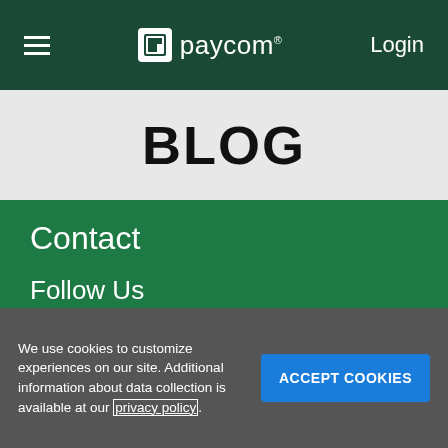paycom Login
BLOG
Contact
Follow Us
[Figure (other): Social media icons: LinkedIn, Twitter, Facebook, Instagram, YouTube]
[Figure (other): App store badges: Download on the App Store, Get it on Google Play]
We use cookies to customize experiences on our site. Additional information about data collection is available at our privacy policy.